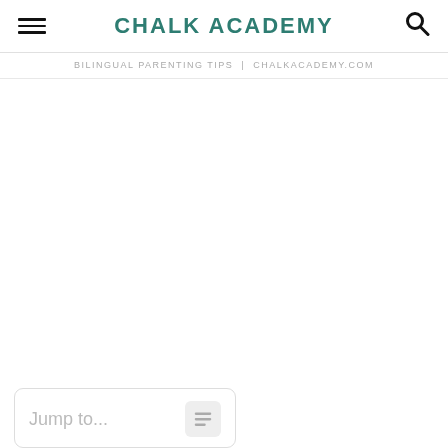CHALK ACADEMY
BILINGUAL PARENTING TIPS | CHALKACADEMY.COM
Jump to...